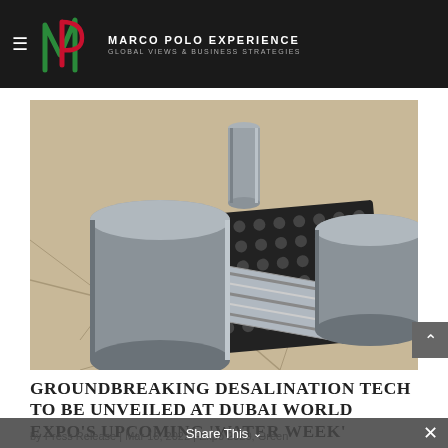Marco Polo Experience — Global Views & Business Strategies
[Figure (photo): 3D render of a desalination technology device showing cylindrical tanks and a textured membrane panel on a cracked dry earth surface]
GROUNDBREAKING DESALINATION TECH TO BE UNVEILED AT DUBAI WORLD EXPO'S UPCOMING 'WATER WEEK'
by Press Release | Mar 16, 2022 | Expo 2020, Green